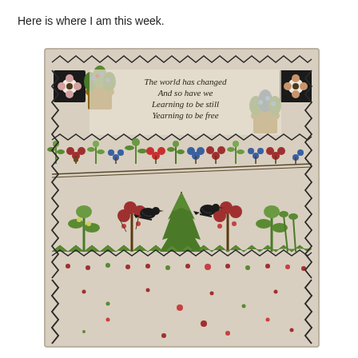Here is where I am this week.
[Figure (photo): A cross-stitch sampler on linen fabric featuring the text 'The world has changed / And so have we / Learning to be still / Yearning to be free', surrounded by decorative borders with flowers, birds, trees, baskets of flowers, and zigzag patterns in green, red, blue and brown thread.]